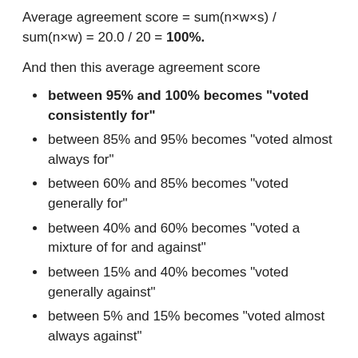Average agreement score = sum(n×w×s) / sum(n×w) = 20.0 / 20 = 100%.
And then this average agreement score
between 95% and 100% becomes "voted consistently for"
between 85% and 95% becomes "voted almost always for"
between 60% and 85% becomes "voted generally for"
between 40% and 60% becomes "voted a mixture of for and against"
between 15% and 40% becomes "voted generally against"
between 5% and 15% becomes "voted almost always against"